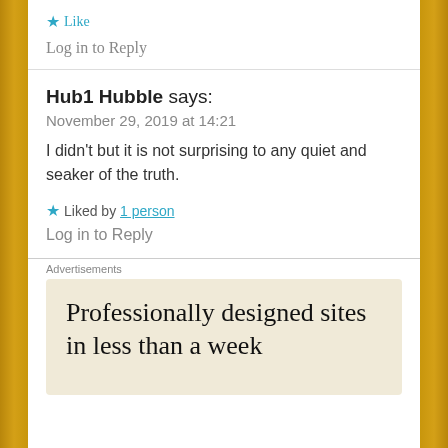Like
Log in to Reply
Hub1 Hubble says:
November 29, 2019 at 14:21
I didn't but it is not surprising to any quiet and seaker of the truth.
Liked by 1 person
Log in to Reply
Advertisements
Professionally designed sites in less than a week